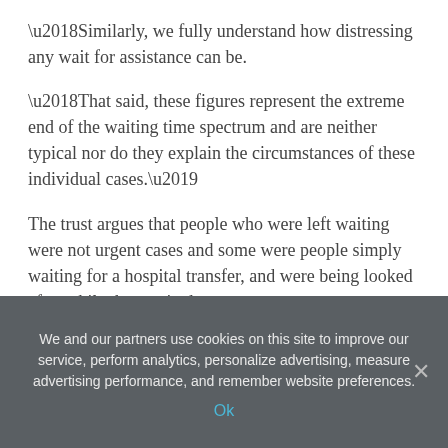‘Similarly, we fully understand how distressing any wait for assistance can be.
‘That said, these figures represent the extreme end of the waiting time spectrum and are neither typical nor do they explain the circumstances of these individual cases.’
The trust argues that people who were left waiting were not urgent cases and some were people simply waiting for a hospital transfer, and were being looked after while they waited.
Other waits may have been caused by bad weather but the NHS insists it does not ignore people who are calling for help.
‘At the Welsh Ambulance Service, we take the care of our patients extremely seriously and have looked in detail at each of
We and our partners use cookies on this site to improve our service, perform analytics, personalize advertising, measure advertising performance, and remember website preferences.
Ok